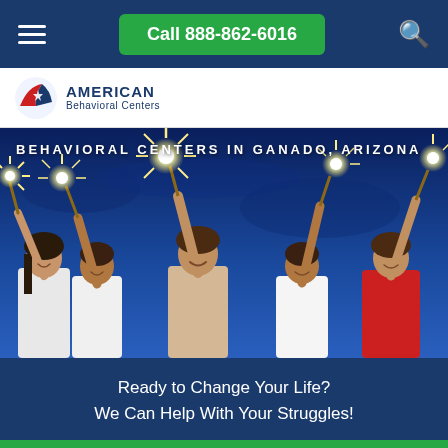Call 888-862-6016
[Figure (logo): American Behavioral Centers logo with eagle/flag icon]
[Figure (photo): Five young adults holding sparklers against a dark blue sky, celebrating. Text overlay: BEHAVIORAL CENTERS IN GANADO, ARIZONA]
Ready to Change Your Life? We Can Help With Your Struggles!